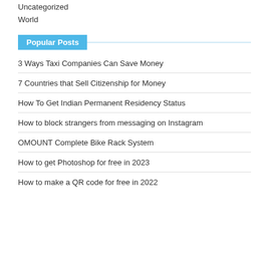Uncategorized
World
Popular Posts
3 Ways Taxi Companies Can Save Money
7 Countries that Sell Citizenship for Money
How To Get Indian Permanent Residency Status
How to block strangers from messaging on Instagram
OMOUNT Complete Bike Rack System
How to get Photoshop for free in 2023
How to make a QR code for free in 2022